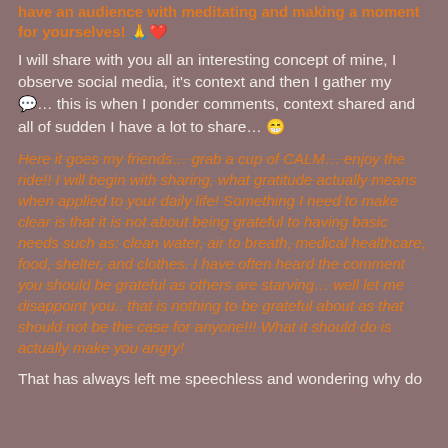have an audience with meditating and making a moment for yourselves! 🙏❤️
I will share with you all an interesting concept of mine, I observe social media, it's context and then I gather my 💬… this is when I ponder comments, context shared and all of sudden I have a lot to share… 😁
Here it goes my friends… grab a cup of CALM… enjoy the ride!! I will begin with sharing, what gratitude actually means when applied to your daily life! Something I need to make clear is that it is not about being grateful to having basic needs such as: clean water, air to breath, medical healthcare, food, shelter, and clothes. I have often heard the comment you should be grateful as others are starving… well let me disappoint you.. that is nothing to be grateful about as that should not be the case for anyone!!! What it should do is actually make you angry!
That has always left me speechless and wondering why do